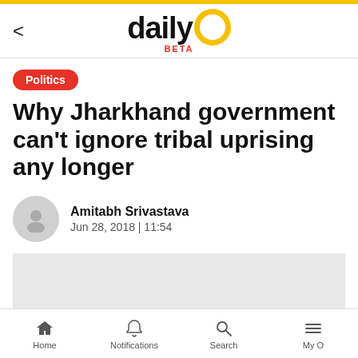[Figure (logo): DailyO logo with yellow circle O and red BETA text below]
Politics
Why Jharkhand government can't ignore tribal uprising any longer
Amitabh Srivastava
Jun 28, 2018 | 11:54
[Figure (photo): Gray placeholder image area]
Home  Notifications  Search  My O